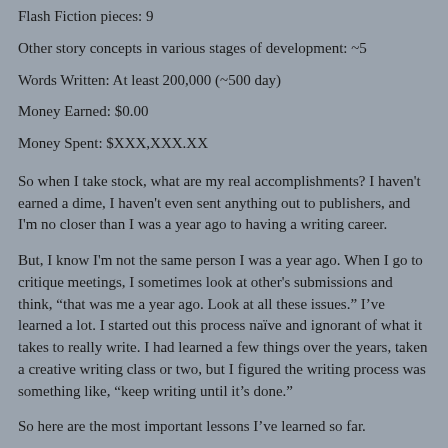Flash Fiction pieces: 9
Other story concepts in various stages of development: ~5
Words Written: At least 200,000 (~500 day)
Money Earned: $0.00
Money Spent: $XXX,XXX.XX
So when I take stock, what are my real accomplishments? I haven't earned a dime, I haven't even sent anything out to publishers, and I'm no closer than I was a year ago to having a writing career.
But, I know I'm not the same person I was a year ago. When I go to critique meetings, I sometimes look at other's submissions and think, “that was me a year ago. Look at all these issues.” I've learned a lot. I started out this process naïve and ignorant of what it takes to really write. I had learned a few things over the years, taken a creative writing class or two, but I figured the writing process was something like, “keep writing until it’s done.”
So here are the most important lessons I’ve learned so far.
Writing is not a process. It’s a craft. It needs to be learned. You can not learn it by reading books (except books or blogs about writing to some extent). You learn about writing by